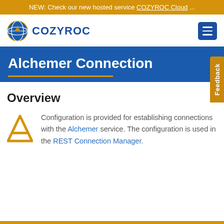NEW: Check our new hosted service COZYROC Cloud ...
[Figure (logo): COZYROC logo with globe icon and blue text, plus hamburger menu button]
Alchemer Connection
Overview
Configuration is provided for establishing connections with the Alchemer service. The configuration is used in the REST Connection Manager.